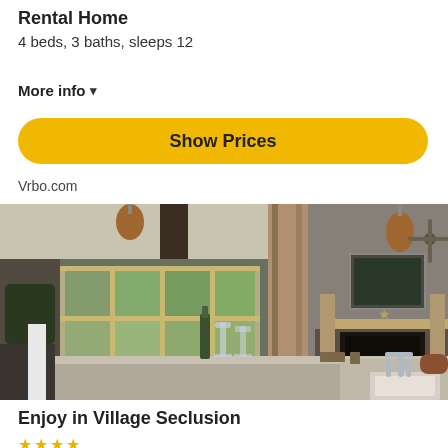Rental Home
4 beds, 3 baths, sleeps 12
More info ▾
Show Prices
Vrbo.com
[Figure (photo): Interior of a rental home showing an open-plan living and kitchen area with wood beam ceiling, large windows, stone fireplace, pendant lights, and kitchen counter in the foreground with a sink and faucet.]
Enjoy in Village Seclusion